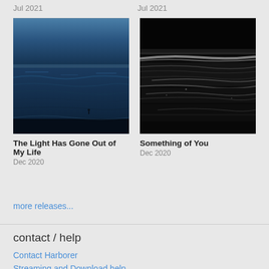Jul 2021
Jul 2021
[Figure (photo): Ocean scene at dusk with dark blue water and waves, small figure visible in the distance]
[Figure (photo): Black and white close-up photograph showing layered rock or mineral formations with high contrast]
The Light Has Gone Out of My Life
Dec 2020
Something of You
Dec 2020
more releases...
contact / help
Contact Harborer
Streaming and Download help